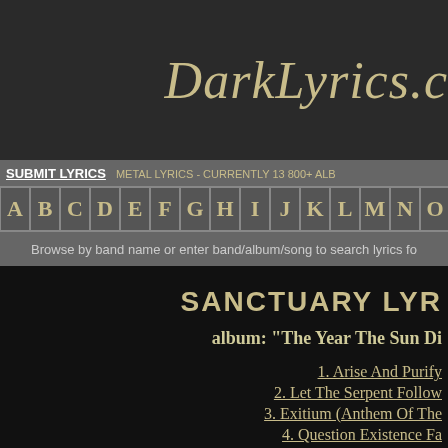DarkLyrics.c
SUBMIT LYRICS
METAL LYRICS - CURRENTLY 13 800+ ALB
A B C D E F G H I J K L M N O P
Browse by band name or enter band/album/song to search lyrics fo
SANCTUARY LYR
album: "The Year The Sun Di
1. Arise And Purify
2. Let The Serpent Follow
3. Exitium (Anthem Of The
4. Question Existence Fa
5. I Am Low
6. Frozen
7. One Final Day (Sworn To
8. The World Is Wired